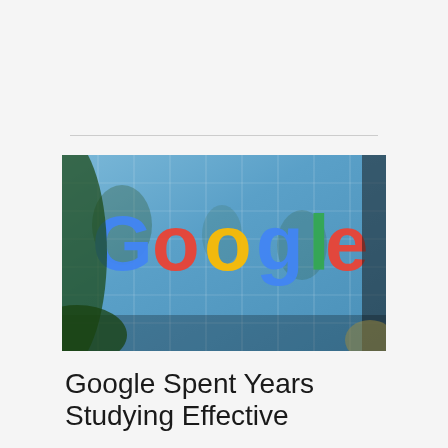[Figure (photo): Photograph of a Google office building exterior with colorful Google logo letters (blue G, red o, yellow o, blue g, green l, red e) displayed on a glass facade, with trees visible in the foreground and reflected in the windows.]
Google Spent Years Studying Effective